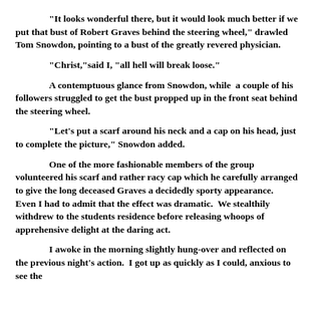"It looks wonderful there, but it would look much better if we put that bust of Robert Graves behind the steering wheel," drawled Tom Snowdon, pointing to a bust of the greatly revered physician.
"Christ,"said I, "all hell will break loose."
A contemptuous glance from Snowdon, while  a couple of his followers struggled to get the bust propped up in the front seat behind the steering wheel.
"Let's put a scarf around his neck and a cap on his head, just to complete the picture," Snowdon added.
One of the more fashionable members of the group volunteered his scarf and rather racy cap which he carefully arranged to give the long deceased Graves a decidedly sporty appearance.   Even I had to admit that the effect was dramatic.  We stealthily withdrew to the students residence before releasing whoops of apprehensive delight at the daring act.
I awoke in the morning slightly hung-over and reflected on the previous night's action.  I got up as quickly as I could, anxious to see the damage. I walked into the courtyard. About twenty minutes...